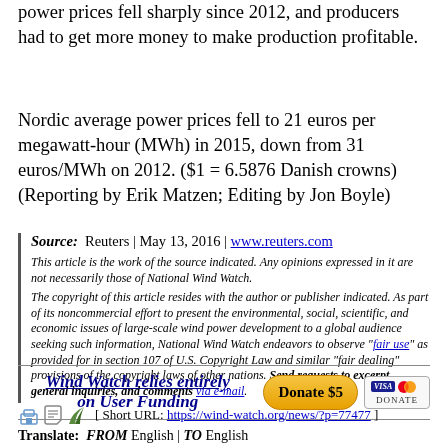power prices fell sharply since 2012, and producers had to get more money to make production profitable.
Nordic average power prices fell to 21 euros per megawatt-hour (MWh) in 2015, down from 31 euros/MWh on 2012. ($1 = 6.5876 Danish crowns) (Reporting by Erik Matzen; Editing by Jon Boyle)
Source: Reuters | May 13, 2016 | www.reuters.com
This article is the work of the source indicated. Any opinions expressed in it are not necessarily those of National Wind Watch.
The copyright of this article resides with the author or publisher indicated. As part of its noncommercial effort to present the environmental, social, scientific, and economic issues of large-scale wind power development to a global audience seeking such information, National Wind Watch endeavors to observe "fair use" as provided for in section 107 of U.S. Copyright Law and similar "fair dealing" provisions of the copyright laws of other nations. Send requests to excerpt, general inquiries, and comments via e-mail.
[Figure (infographic): Wind Watch donation banner: italic bold blue text 'Wind Watch relies entirely on User Funding', orange rounded Donate $5 button, Visa/Mastercard donate box]
[ Short URL: https://wind-watch.org/news/?p=77477 ]
Translate: FROM English | TO English